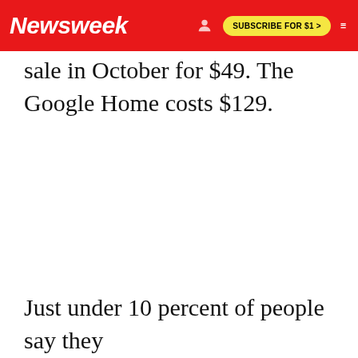Newsweek | SUBSCRIBE FOR $1 >
sale in October for $49. The Google Home costs $129.
Just under 10 percent of people say they